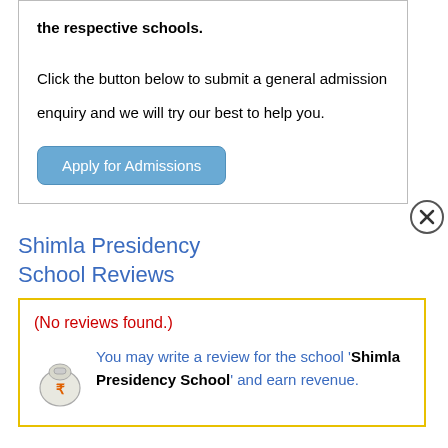the respective schools.

Click the button below to submit a general admission enquiry and we will try our best to help you.
Apply for Admissions
Shimla Presidency School Reviews
(No reviews found.)
You may write a review for the school 'Shimla Presidency School' and earn revenue.